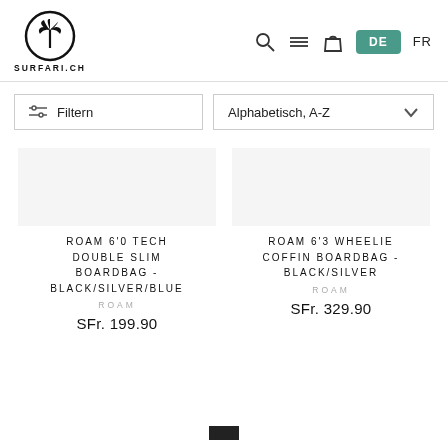SURFARI.CH — DE / FR
Filtern
Alphabetisch, A-Z
ROAM 6'0 TECH DOUBLE SLIM BOARDBAG - BLACK/SILVER/BLUE
ROAM
SFr. 199.90
ROAM 6'3 WHEELIE COFFIN BOARDBAG - BLACK/SILVER
ROAM
SFr. 329.90